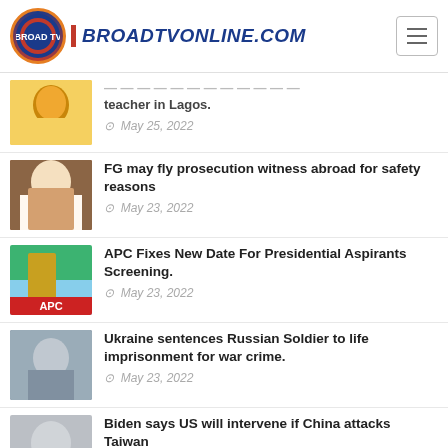BROADTVONLINE.COM
teacher in Lagos. — May 25, 2022
FG may fly prosecution witness abroad for safety reasons — May 23, 2022
APC Fixes New Date For Presidential Aspirants Screening. — May 23, 2022
Ukraine sentences Russian Soldier to life imprisonment for war crime. — May 23, 2022
Biden says US will intervene if China attacks Taiwan